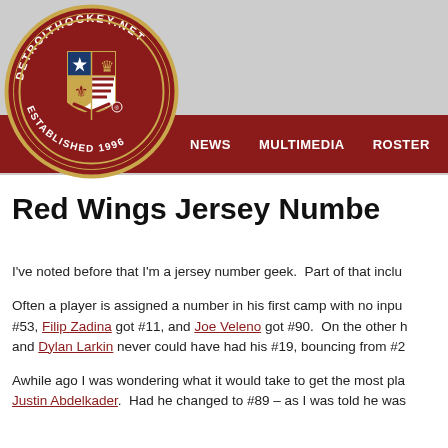[Figure (logo): DetroitHockey.net circular logo with shield emblem, established 1996]
NEWS   MULTIMEDIA   ROSTER
Red Wings Jersey Numbe
I've noted before that I'm a jersey number geek.  Part of that inclu
Often a player is assigned a number in his first camp with no inpu #53, Filip Zadina got #11, and Joe Veleno got #90.  On the other h and Dylan Larkin never could have had his #19, bouncing from #2
Awhile ago I was wondering what it would take to get the most pla Justin Abdelkader.  Had he changed to #89 – as I was told he was